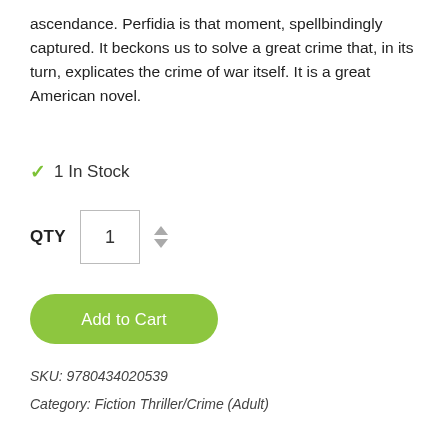ascendance. Perfidia is that moment, spellbindingly captured. It beckons us to solve a great crime that, in its turn, explicates the crime of war itself. It is a great American novel.
✓ 1 In Stock
QTY  1
Add to Cart
SKU: 9780434020539
Category: Fiction Thriller/Crime (Adult)